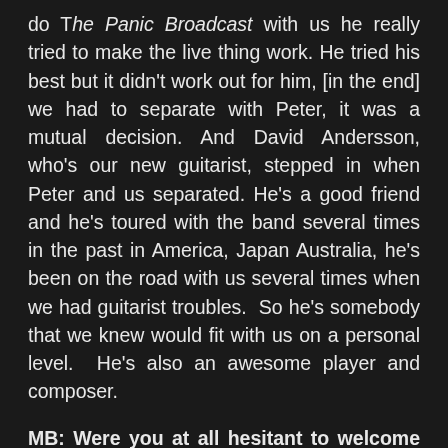do The Panic Broadcast with us he really tried to make the live thing work. He tried his best but it didn't work out for him, [in the end] we had to separate with Peter, it was a mutual decision. And David Andersson, who's our new guitarist, stepped in when Peter and us separated. He's a good friend and he's toured with the band several times in the past in America, Japan Australia, he's been on the road with us several times when we had guitarist troubles.  So he's somebody that we knew would fit with us on a personal level.  He's also an awesome player and composer.
MB: Were you at all hesitant to welcome him into the fold? Would it all work out?